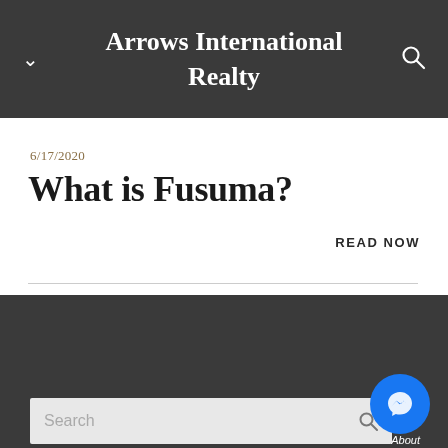Arrows International Realty
6/17/2020
What is Fusuma?
READ NOW
DETAILS +
Search
About